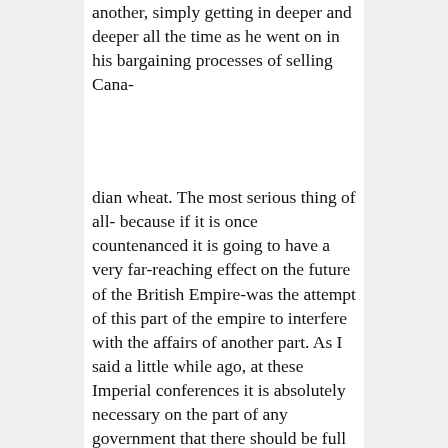another, simply getting in deeper and deeper all the time as he went on in his bargaining processes of selling Cana- dian wheat. The most serious thing of all- because if it is once countenanced it is going to have a very far-reaching effect on the future of the British Empire-was the attempt of this part of the empire to interfere with the affairs of another part. As I said a little while ago, at these Imperial conferences it is absolutely necessary on the part of any government that there should be full regard for the domestic policies of all governments. Every government must respect the domestic policies of another